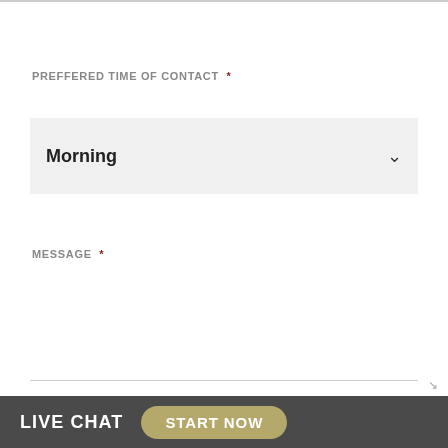PREFFERED TIME OF CONTACT *
Morning
MESSAGE *
SUBMIT NOW
LIVE CHAT  START NOW